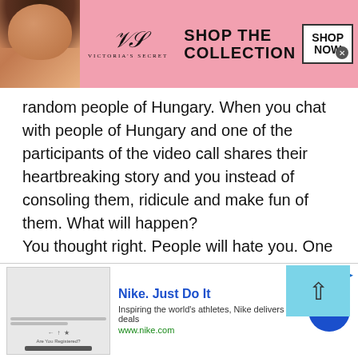[Figure (other): Victoria's Secret advertisement banner with model, VS logo, 'SHOP THE COLLECTION' text, and 'SHOP NOW' button]
random people of Hungary. When you chat with people of Hungary and one of the participants of the video call shares their heartbreaking story and you instead of consoling them, ridicule and make fun of them. What will happen?

You thought right. People will hate you. One of the best tips that you can get when having a chat with the people of Hungary is that, always stay empathetic. It is the people's nature that they like
[Figure (other): Nike advertisement: 'Nike. Just Do It' with tagline 'Inspiring the world's athletes, Nike delivers the deals' and www.nike.com URL, with blue circular CTA arrow button]